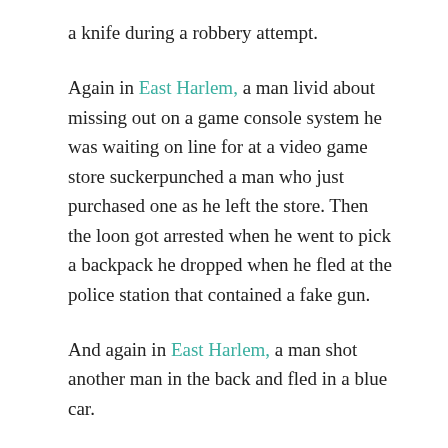a knife during a robbery attempt.
Again in East Harlem, a man livid about missing out on a game console system he was waiting on line for at a video game store suckerpunched a man who just purchased one as he left the store. Then the loon got arrested when he went to pick a backpack he dropped when he fled at the police station that contained a fake gun.
And again in East Harlem, a man shot another man in the back and fled in a blue car.
And again in East Harlem, a man got hit in the leg with a stray bullet after a man shot a group of men by a street corner.